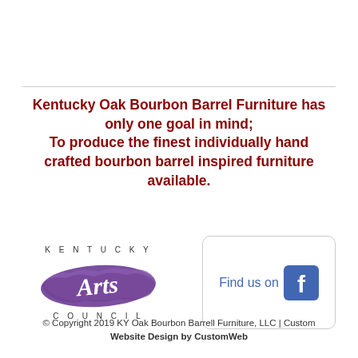Kentucky Oak Bourbon Barrel Furniture has only one goal in mind; To produce the finest individually hand crafted bourbon barrel inspired furniture available.
[Figure (logo): Kentucky Arts Council logo with purple brush stroke and the text KENTUCKY at top and COUNCIL at bottom in spaced lettering]
[Figure (logo): Find us on Facebook button — rounded rectangle with 'Find us on' text and Facebook 'f' icon in blue]
© Copyright 2019 KY Oak Bourbon Barrell Furniture, LLC | Custom Website Design by CustomWeb